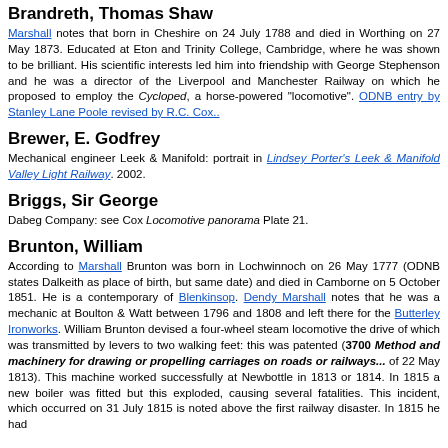Brandreth, Thomas Shaw
Marshall notes that born in Cheshire on 24 July 1788 and died in Worthing on 27 May 1873. Educated at Eton and Trinity College, Cambridge, where he was shown to be brilliant. His scientific interests led him into friendship with George Stephenson and he was a director of the Liverpool and Manchester Railway on which he proposed to employ the Cycloped, a horse-powered "locomotive". ODNB entry by Stanley Lane Poole revised by R.C. Cox..
Brewer, E. Godfrey
Mechanical engineer Leek & Manifold: portrait in Lindsey Porter's Leek & Manifold Valley Light Railway. 2002.
Briggs, Sir George
Dabeg Company: see Cox Locomotive panorama Plate 21.
Brunton, William
According to Marshall Brunton was born in Lochwinnoch on 26 May 1777 (ODNB states Dalkeith as place of birth, but same date) and died in Camborne on 5 October 1851. He is a contemporary of Blenkinsop. Dendy Marshall notes that he was a mechanic at Boulton & Watt between 1796 and 1808 and left there for the Butterley Ironworks. William Brunton devised a four-wheel steam locomotive the drive of which was transmitted by levers to two walking feet: this was patented (3700 Method and machinery for drawing or propelling carriages on roads or railways... of 22 May 1813). This machine worked successfully at Newbottle in 1813 or 1814. In 1815 a new boiler was fitted but this exploded, causing several fatalities. This incident, which occurred on 31 July 1815 is noted above the first railway disaster. In 1815 he had...